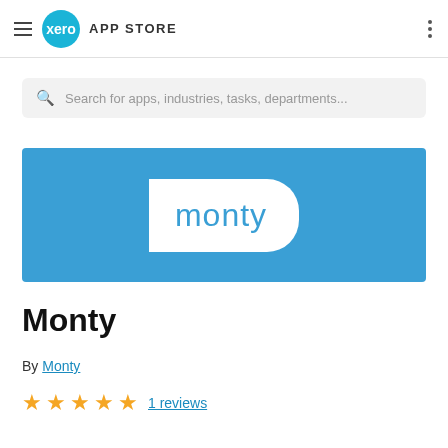Xero App Store
Search for apps, industries, tasks, departments...
[Figure (logo): Blue banner with white Monty logo badge on blue background]
Monty
By Monty
★★★★★ 1 reviews